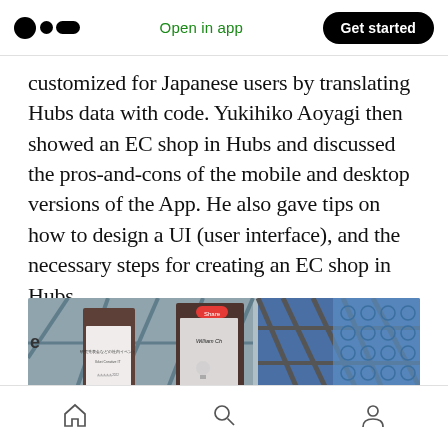Medium logo | Open in app | Get started
customized for Japanese users by translating Hubs data with code. Yukihiko Aoyagi then showed an EC shop in Hubs and discussed the pros-and-cons of the mobile and desktop versions of the App. He also gave tips on how to design a UI (user interface), and the necessary steps for creating an EC shop in Hubs.
[Figure (photo): Screenshot of a virtual space in Mozilla Hubs showing an EC shop presentation with panels and a geodesic dome structure with blue and grey triangular panels in the background.]
Home | Search | Profile navigation icons